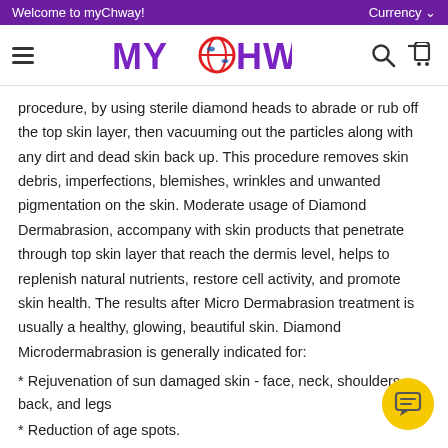Welcome to myChway!    Currency
[Figure (logo): myChway logo with globe icon replacing the O in MYCHWAY, purple and red text]
procedure, by using sterile diamond heads to abrade or rub off the top skin layer, then vacuuming out the particles along with any dirt and dead skin back up. This procedure removes skin debris, imperfections, blemishes, wrinkles and unwanted pigmentation on the skin. Moderate usage of Diamond Dermabrasion, accompany with skin products that penetrate through top skin layer that reach the dermis level, helps to replenish natural nutrients, restore cell activity, and promote skin health. The results after Micro Dermabrasion treatment is usually a healthy, glowing, beautiful skin. Diamond Microdermabrasion is generally indicated for:
* Rejuvenation of sun damaged skin - face, neck, shoulders, back, and legs
* Reduction of age spots.